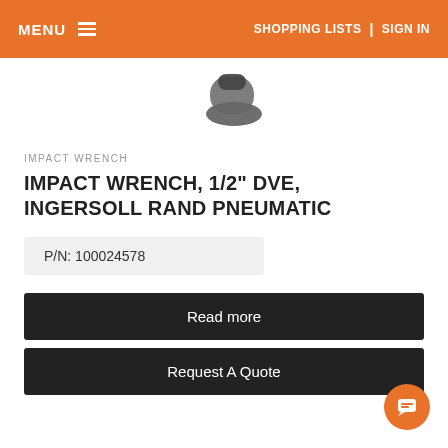MENU   SHOPPING LISTS  |  SIGN IN
[Figure (photo): Partial view of an impact wrench tool, shown from above against white background]
IMPACT WRENCH
IMPACT WRENCH, 1/2" DVE, INGERSOLL RAND PNEUMATIC
P/N: 100024578
Read more
Request A Quote